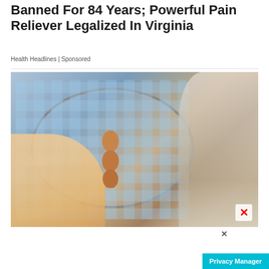Banned For 84 Years; Powerful Pain Reliever Legalized In Virginia
Health Headlines | Sponsored
[Figure (photo): Photo showing a hand holding an ice pack bag with two brown eggs placed on it, and an older man in a suit and tie pointing at the ice pack on the right side of the image.]
[Figure (photo): Advertisement banner for GolfMagic YouTube channel. Left side has red background with text 'FOR ALL YOUR GOLF NEEDS', right side shows 'GolfMagic' with YouTube logo.]
Privacy Manager